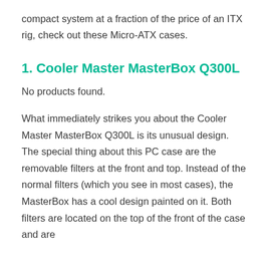compact system at a fraction of the price of an ITX rig, check out these Micro-ATX cases.
1. Cooler Master MasterBox Q300L
No products found.
What immediately strikes you about the Cooler Master MasterBox Q300L is its unusual design. The special thing about this PC case are the removable filters at the front and top. Instead of the normal filters (which you see in most cases), the MasterBox has a cool design painted on it. Both filters are located on the top of the front of the case and are